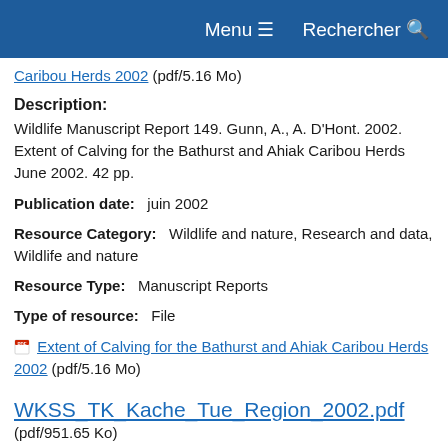Menu  Rechercher
Caribou Herds 2002 (pdf/5.16 Mo)
Description:
Wildlife Manuscript Report 149. Gunn, A., A. D'Hont. 2002. Extent of Calving for the Bathurst and Ahiak Caribou Herds June 2002. 42 pp.
Publication date:   juin 2002
Resource Category:   Wildlife and nature, Research and data, Wildlife and nature
Resource Type:   Manuscript Reports
Type of resource:   File
Extent of Calving for the Bathurst and Ahiak Caribou Herds 2002 (pdf/5.16 Mo)
WKSS_TK_Kache_Tue_Region_2002.pdf (pdf/951.65 Ko)
Description: